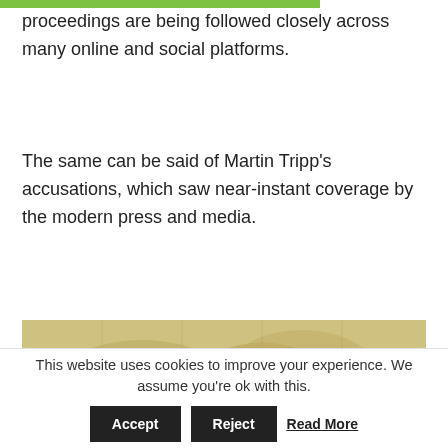proceedings are being followed closely across many online and social platforms.
The same can be said of Martin Tripp's accusations, which saw near-instant coverage by the modern press and media.
[Figure (photo): A brass sundial/compass resting on an antique world map with yellowed parchment-style cartography.]
This website uses cookies to improve your experience. We assume you're ok with this. Accept Reject Read More